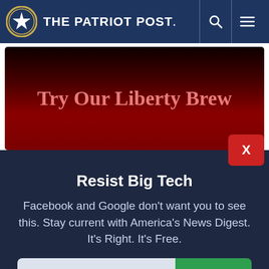THE PATRIOT POST.
[Figure (screenshot): The Patriot Post banner advertisement: 'Try Our Liberty Brew' with a dark red gradient background and a red X close button]
Resist Big Tech
Facebook and Google don't want you to see this. Stay current with America's News Digest. It's Right. It's Free.
Email address | Subscribe
I'm Already Subscribed